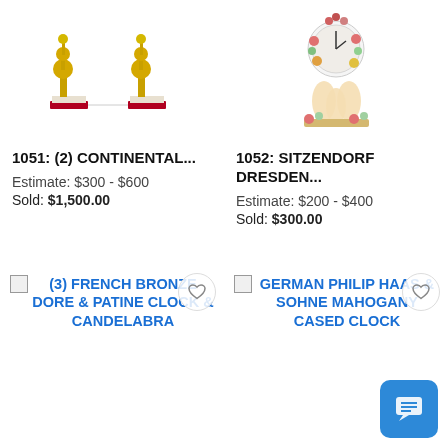[Figure (photo): Two gilded continental candlestick/candelabra figurines on marble bases]
1051: (2) CONTINENTAL...
Estimate: $300 - $600
Sold: $1,500.00
[Figure (photo): Sitzendorf Dresden porcelain clock decorated with flowers and figures]
1052: SITZENDORF DRESDEN...
Estimate: $200 - $400
Sold: $300.00
(3) FRENCH BRONZE DORE & PATINE CLOCK & CANDELABRA
GERMAN PHILIP HAAS & SOHNE MAHOGANY CASED CLOCK